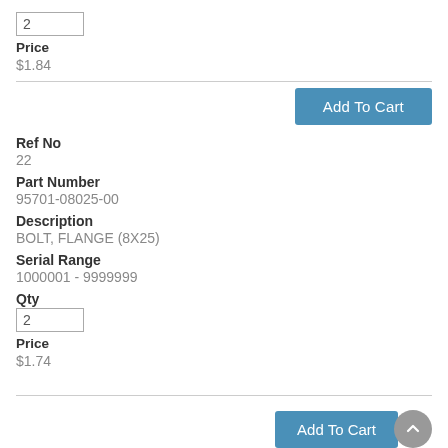Qty
2
Price
$1.84
Add To Cart
Ref No
22
Part Number
95701-08025-00
Description
BOLT, FLANGE (8X25)
Serial Range
1000001 - 9999999
Qty
2
Price
$1.74
Add To Cart